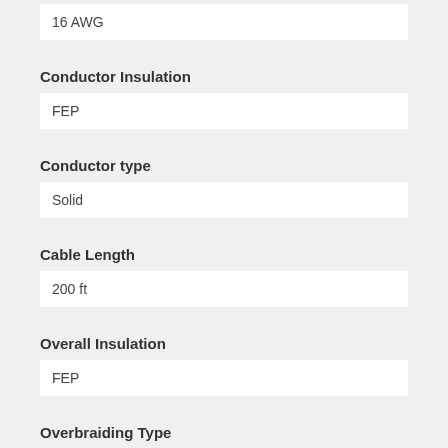16 AWG
Conductor Insulation
FEP
Conductor type
Solid
Cable Length
200 ft
Overall Insulation
FEP
Overbraiding Type
None